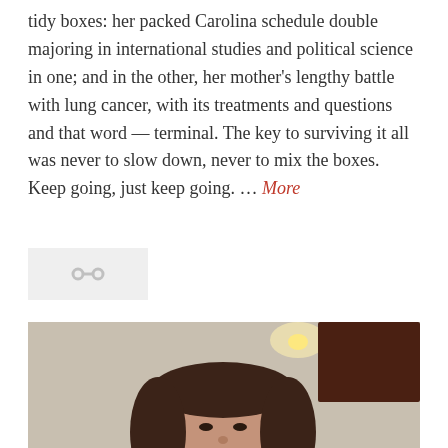tidy boxes: her packed Carolina schedule double majoring in international studies and political science in one; and in the other, her mother's lengthy battle with lung cancer, with its treatments and questions and that word — terminal. The key to surviving it all was never to slow down, never to mix the boxes. Keep going, just keep going. … More
[Figure (other): A small share/link icon button with a chain-link symbol on a light gray background]
[Figure (photo): A photograph of a young woman with dark brown hair and bangs, looking slightly upward, in an interior setting with warm lighting and dark wooden paneling in the background.]